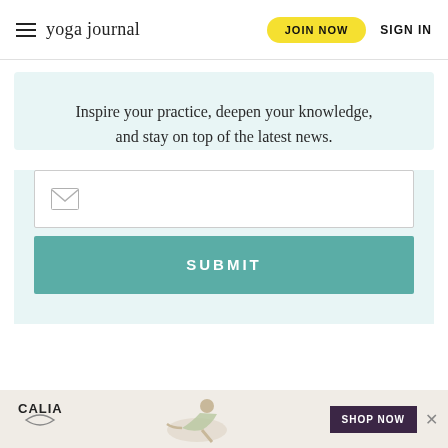yoga journal | JOIN NOW | SIGN IN
Inspire your practice, deepen your knowledge, and stay on top of the latest news.
[Figure (screenshot): Email newsletter signup form with email input field (envelope icon) and a teal SUBMIT button]
[Figure (infographic): CALIA advertisement banner with logo, woman doing yoga pose, SHOP NOW button, and close X]